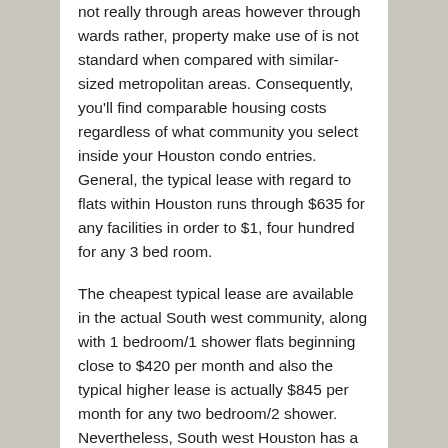not really through areas however through wards rather, property make use of is not standard when compared with similar-sized metropolitan areas. Consequently, you'll find comparable housing costs regardless of what community you select inside your Houston condo entries. General, the typical lease with regard to flats within Houston runs through $635 for any facilities in order to $1, four hundred for any 3 bed room.
The cheapest typical lease are available in the actual South west community, along with 1 bedroom/1 shower flats beginning close to $420 per month and also the typical higher lease is actually $845 per month for any two bedroom/2 shower. Nevertheless, South west Houston has a tendency to possess greater criminal offense prices, the industry industry away for that reduced